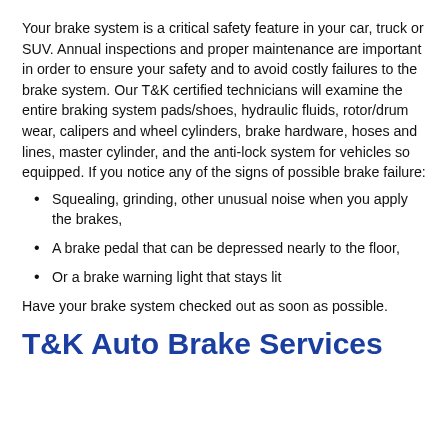Your brake system is a critical safety feature in your car, truck or SUV. Annual inspections and proper maintenance are important in order to ensure your safety and to avoid costly failures to the brake system. Our T&K certified technicians will examine the entire braking system pads/shoes, hydraulic fluids, rotor/drum wear, calipers and wheel cylinders, brake hardware, hoses and lines, master cylinder, and the anti-lock system for vehicles so equipped. If you notice any of the signs of possible brake failure:
Squealing, grinding, other unusual noise when you apply the brakes,
A brake pedal that can be depressed nearly to the floor,
Or a brake warning light that stays lit
Have your brake system checked out as soon as possible.
T&K Auto Brake Services